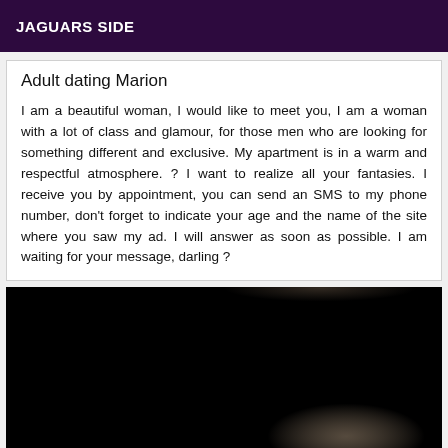JAGUARS SIDE
Adult dating Marion
I am a beautiful woman, I would like to meet you, I am a woman with a lot of class and glamour, for those men who are looking for something different and exclusive. My apartment is in a warm and respectful atmosphere. ? I want to realize all your fantasies. I receive you by appointment, you can send an SMS to my phone number, don't forget to indicate your age and the name of the site where you saw my ad. I will answer as soon as possible. I am waiting for your message, darling ?
[Figure (photo): Black and white close-up photograph of a woman's face partially lit, mostly in shadow against a dark background]